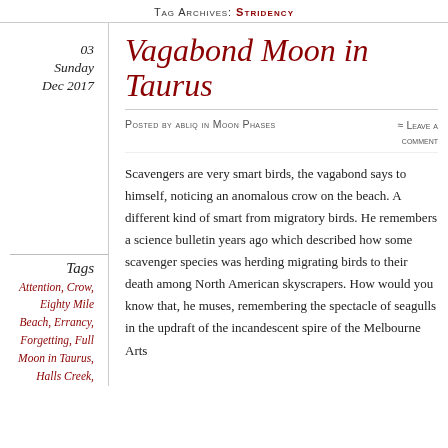TAG ARCHIVES: STRIDENCY
03
Sunday
Dec 2017
Vagabond Moon in Taurus
Posted by abliq in Moon Phases ≈ Leave a comment
Tags
Attention, Crow, Eighty Mile Beach, Errancy, Forgetting, Full Moon in Taurus, Halls Creek,
Scavengers are very smart birds, the vagabond says to himself, noticing an anomalous crow on the beach. A different kind of smart from migratory birds. He remembers a science bulletin years ago which described how some scavenger species was herding migrating birds to their death among North American skyscrapers. How would you know that, he muses, remembering the spectacle of seagulls in the updraft of the incandescent spire of the Melbourne Arts